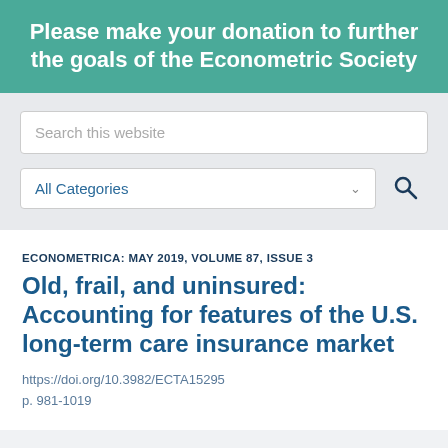Please make your donation to further the goals of the Econometric Society
Search this website
All Categories
ECONOMETRICA: MAY 2019, VOLUME 87, ISSUE 3
Old, frail, and uninsured: Accounting for features of the U.S. long-term care insurance market
https://doi.org/10.3982/ECTA15295
p. 981-1019